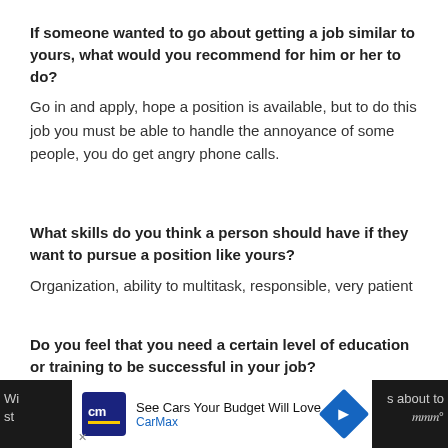If someone wanted to go about getting a job similar to yours, what would you recommend for him or her to do?
Go in and apply, hope a position is available, but to do this job you must be able to handle the annoyance of some people, you do get angry phone calls.
What skills do you think a person should have if they want to pursue a position like yours?
Organization, ability to multitask, responsible, very patient
Do you feel that you need a certain level of education or training to be successful in your job?
no
[Figure (other): CarMax advertisement banner at bottom of page showing CarMax logo, text 'See Cars Your Budget Will Love' with CarMax branding, navigation arrow icon, and partial dark background with obscured text on sides.]